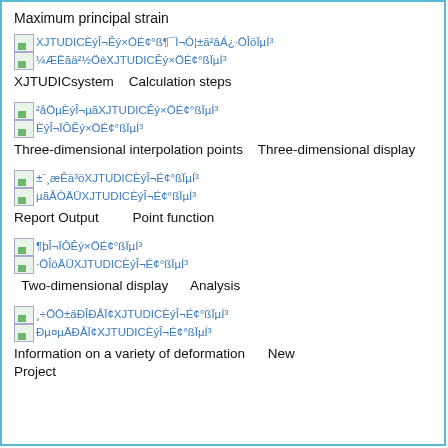Maximum principal strain
[Figure (screenshot): XJTUDICEyI¬Êý×ÖÉ¢°ß¶¯Ì¬Ó¦±ä²âÁ¿·ÖÎöÏµÍ³ screenshot link]
[Figure (screenshot): ¼ÆËã²½ÖèXJTUDICÊý×ÖÉ¢°ßÏµÍ³ screenshot link]
XJTUDICsystem    Calculation steps
[Figure (screenshot): ²åÖµÈýÎ¬µãXJTUDICÊý×ÖÉ¢°ßÏµÍ³ screenshot link]
[Figure (screenshot): ÈýÎ¬ÏÔÊý×ÖÉ¢°ßÏµÍ³ screenshot link]
Three-dimensional interpolation points    Three-dimensional display
[Figure (screenshot): ±¨¸æÊäÛâäÛêXJTUDICÈýÎ¬É¢°ßÏµÍ³ screenshot link]
[Figure (screenshot): µãÅÒÁÄÜXJTUDICÈýÎ¬É¢°ßÏµÍ³ screenshot link]
Report Output          Point function
[Figure (screenshot): ¶þÎ¬ÏÔÊý×ÖÉ¢°ßÏµÍ³ screenshot link]
[Figure (screenshot): ·ÖÎö¼ÄÜXJTUDICÈýÎ¬É¢°ßÏµÍ³ screenshot link]
Two-dimensional display      Analysis
[Figure (screenshot): ¸÷ÖÖ±äÐÎÐÅÏ¢XJTUDICÈýÎ¬É¢°ßÏµÍ³ screenshot link]
[Figure (screenshot): Ðµ¤µÂÐÅÏ¢XJTUDICÈýÎ¬É¢°ßÏµÍ³ screenshot link]
Information on a variety of deformation      New Project